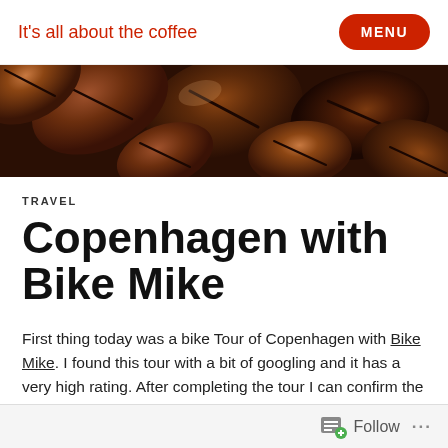It's all about the coffee
[Figure (photo): Close-up photo of dark roasted coffee beans filling the frame]
TRAVEL
Copenhagen with Bike Mike
First thing today was a bike Tour of Copenhagen with Bike Mike. I found this tour with a bit of googling and it has a very high rating. After completing the tour I can confirm the rating is well deserved. Not sure about the Max 15
Follow ...